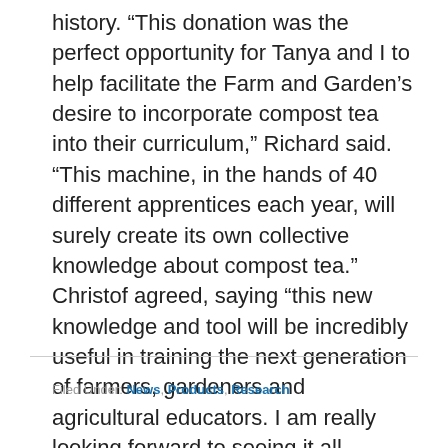history. “This donation was the perfect opportunity for Tanya and I to help facilitate the Farm and Garden’s desire to incorporate compost tea into their curriculum,” Richard said. “This machine, in the hands of 40 different apprentices each year, will surely create its own collective knowledge about compost tea.” Christof agreed, saying “this new knowledge and tool will be incredibly useful in training the next generation of farmers, gardeners and agricultural educators. I am really looking forward to seeing it all unfold.”
Filed Under: News, Products, Research